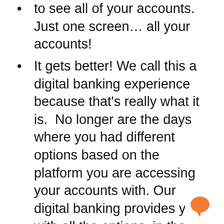to see all of your accounts. Just one screen… all your accounts!
It gets better! We call this a digital banking experience because that's really what it is. No longer are the days where you had different options based on the platform you are accessing your accounts with. Our digital banking provides you with all the options, in the exact same view and format, regardless of the device. It's the same on desktop as it is mobile, it's the same on mobile as it is tablet, it's the same on tablet as it is on desktop… exactly the same, no matter where you are at. The only exception is mobile check deposit. It's obviously on mobile and tablet only!
It just keeps going! New features and options will make managing your finances and investments a breeze. We have even incorporated services like SavvyMoney, a feature that adds credit monitoring to your